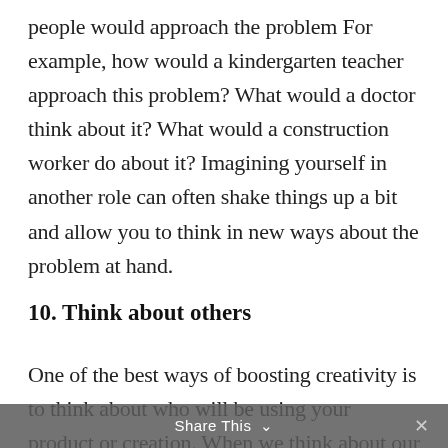people would approach the problem For example, how would a kindergarten teacher approach this problem? What would a doctor think about it? What would a construction worker do about it? Imagining yourself in another role can often shake things up a bit and allow you to think in new ways about the problem at hand.
10. Think about others
One of the best ways of boosting creativity is to think about who will be using your product or creation. When we think about our problem from the perspective of the people for whom we're creating solutions, we
Share This ✕